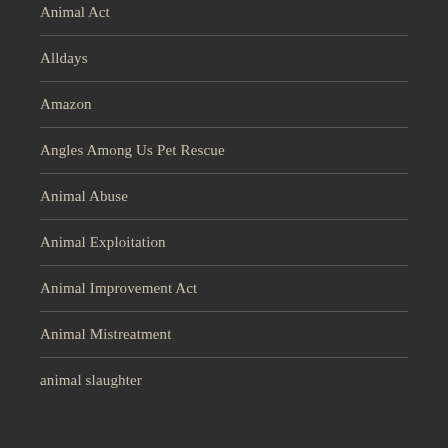Animal Act
Alldays
Amazon
Angles Among Us Pet Rescue
Animal Abuse
Animal Exploitation
Animal Improvement Act
Animal Mistreatment
animal slaughter